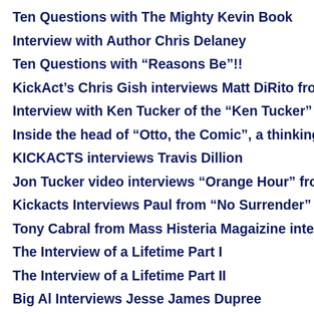Ten Questions with The Mighty Kevin Book
Interview with Author Chris Delaney
Ten Questions with “Reasons Be”!!
KickAct’s Chris Gish interviews Matt DiRito from Po
Interview with Ken Tucker of the “Ken Tucker” Band
Inside the head of “Otto, the Comic”, a thinking man
KICKACTS interviews Travis Dillion
Jon Tucker video interviews “Orange Hour” from Ta
Kickacts Interviews Paul from “No Surrender”
Tony Cabral from Mass Histeria Magaizine interview
The Interview of a Lifetime Part I
The Interview of a Lifetime Part II
Big Al Interviews Jesse James Dupree
Michael Sweet interview from Powerline
On the road with Kansas’s Drum Tech Eric Holmqui
Ten Questions with “Bottom Feeder” band
Ten Questions with Belmont Lights!